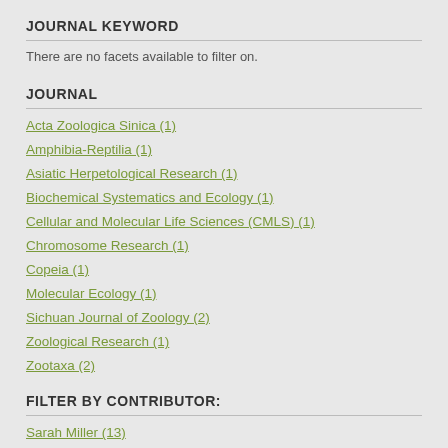JOURNAL KEYWORD
There are no facets available to filter on.
JOURNAL
Acta Zoologica Sinica (1)
Amphibia-Reptilia (1)
Asiatic Herpetological Research (1)
Biochemical Systematics and Ecology (1)
Cellular and Molecular Life Sciences (CMLS) (1)
Chromosome Research (1)
Copeia (1)
Molecular Ecology (1)
Sichuan Journal of Zoology (2)
Zoological Research (1)
Zootaxa (2)
FILTER BY CONTRIBUTOR:
Sarah Miller (13)